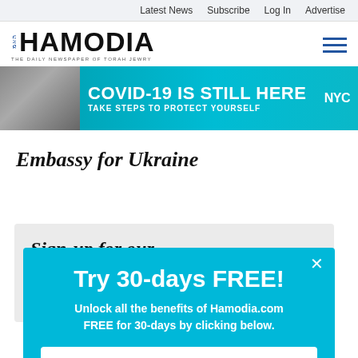Latest News  Subscribe  Log In  Advertise
HAMODIA — THE DAILY NEWSPAPER OF TORAH JEWRY
[Figure (photo): Banner advertisement: person wearing mask on phone, with teal background and text: COVID-19 IS STILL HERE — TAKE STEPS TO PROTECT YOURSELF — NYC]
Embassy for Ukraine
Sign-up for our
E
[Figure (infographic): Popup overlay with cyan background: Try 30-days FREE! Unlock all the benefits of Hamodia.com FREE for 30-days by clicking below. Start Your Trial →]